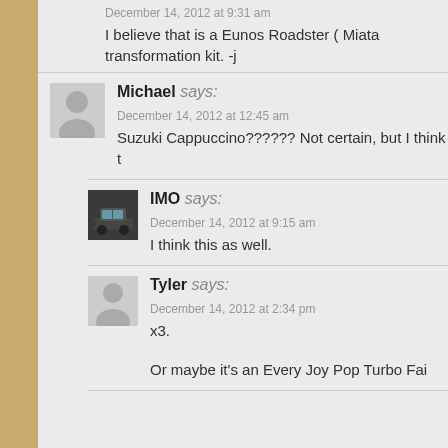December 14, 2012 at 9:31 am
I believe that is a Eunos Roadster ( Miata transformation kit. -j
Michael says:
December 14, 2012 at 12:45 am
Suzuki Cappuccino?????? Not certain, but I think t
IMO says:
December 14, 2012 at 9:15 am
I think this as well.
Tyler says:
December 14, 2012 at 2:34 pm
x3.

Or maybe it's an Every Joy Pop Turbo Fai